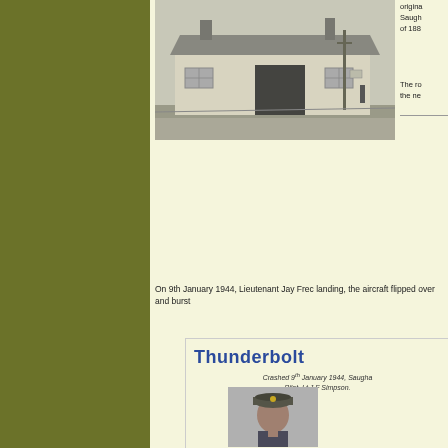[Figure (photo): Black and white photograph of a small single-story building with a sloped roof, a chimney, and a utility pole in front of it. The building appears to be a historic structure, possibly a pub or cottage.]
original Saugha of 1888
The ro the new
On 9th January 1944, Lieutenant Jay Frec landing, the aircraft flipped over and burst
[Figure (infographic): Information box about a Thunderbolt aircraft crash. Title reads 'Thunderbolt' in large blue bold text. Subtext reads 'Crashed 9th January 1944, Saugha' and 'Pilot, Lt J F Simpson.']
[Figure (photo): Black and white portrait photograph of a military officer wearing a peaked cap with insignia.]